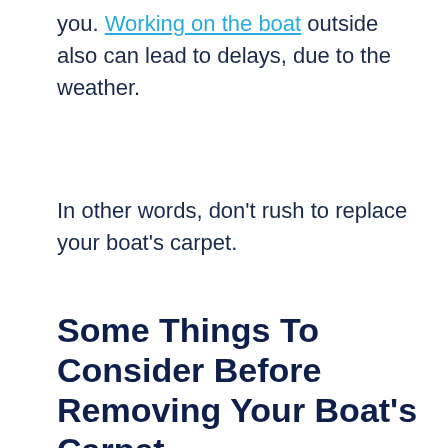you. Working on the boat outside also can lead to delays, due to the weather.
In other words, don't rush to replace your boat's carpet.
Some Things To Consider Before Removing Your Boat's Carpet
As mentioned earlier, this is going to be a decision that will last you at least a few years. So, make sure you are